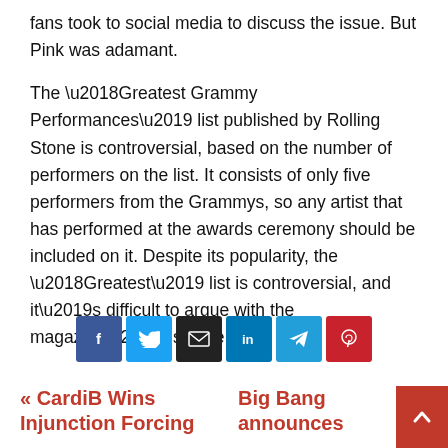fans took to social media to discuss the issue. But Pink was adamant.
The ‘Greatest Grammy Performances’ list published by Rolling Stone is controversial, based on the number of performers on the list. It consists of only five performers from the Grammys, so any artist that has performed at the awards ceremony should be included on it. Despite its popularity, the ‘Greatest’ list is controversial, and it’s difficult to argue with the magazine’s stance.
[Figure (other): Social media share buttons: Facebook, Twitter, Email, LinkedIn, Telegram, Pinterest]
« CardiB Wins Injunction Forcing
Big Bang announces